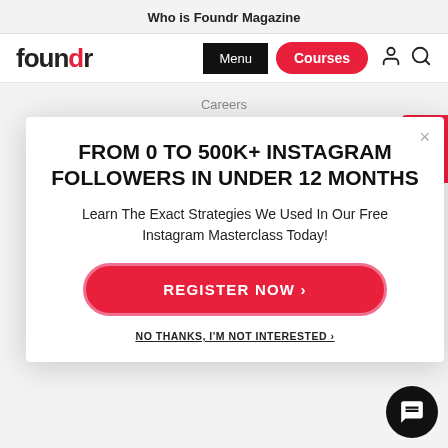Who is Foundr Magazine
[Figure (screenshot): Foundr Magazine website navigation bar with logo, Menu button, Courses button, user icon, and search icon]
Careers
FROM 0 TO 500K+ INSTAGRAM FOLLOWERS IN UNDER 12 MONTHS
Learn The Exact Strategies We Used In Our Free Instagram Masterclass Today!
REGISTER NOW >
NO THANKS, I'M NOT INTERESTED >